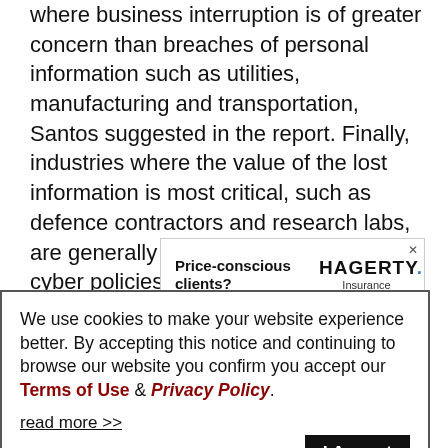where business interruption is of greater concern than breaches of personal information such as utilities, manufacturing and transportation, Santos suggested in the report. Finally, industries where the value of the lost information is most critical, such as defence contractors and research labs, are generally excluded from today's cyber policies.
[Figure (other): Advertisement for Hagerty Insurance with headline 'Price-conscious clients?' and subtext 'Focus on the value of a']
We use cookies to make your website experience better. By accepting this notice and continuing to browse our website you confirm you accept our Terms of Use & Privacy Policy.

read more >>
I Accept
purchased cyber insurance as a result of contractual